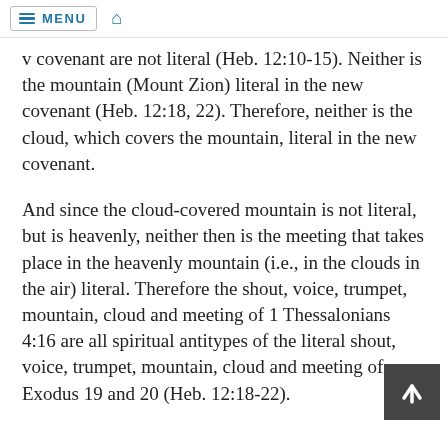≡ MENU  🏠
v covenant are not literal (Heb. 12:10-15). Neither is the mountain (Mount Zion) literal in the new covenant (Heb. 12:18, 22). Therefore, neither is the cloud, which covers the mountain, literal in the new covenant.
And since the cloud-covered mountain is not literal, but is heavenly, neither then is the meeting that takes place in the heavenly mountain (i.e., in the clouds in the air) literal. Therefore the shout, voice, trumpet, mountain, cloud and meeting of 1 Thessalonians 4:16 are all spiritual antitypes of the literal shout, voice, trumpet, mountain, cloud and meeting of Exodus 19 and 20 (Heb. 12:18-22).